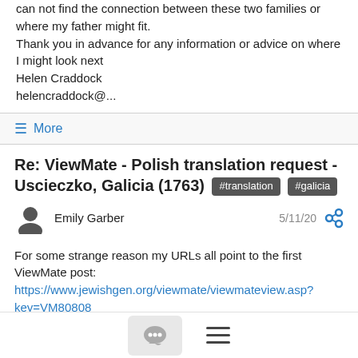can not find the connection between these two families or where my father might fit.
Thank you in advance for any information or advice on where I might look next
Helen Craddock
helencraddock@...
≡ More
Re: ViewMate - Polish translation request - Uscieczko, Galicia (1763) #translation #galicia
Emily Garber  5/11/20
For some strange reason my URLs all point to the first ViewMate post: https://www.jewishgen.org/viewmate/viewmateview.asp?key=VM80808
I also posted the second page of the record with the same